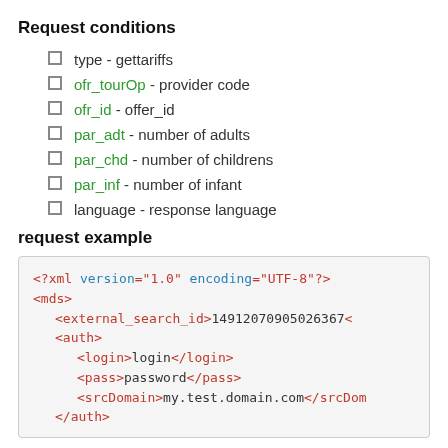Request conditions
type - gettariffs
ofr_tourOp - provider code
ofr_id - offer_id
par_adt - number of adults
par_chd - number of childrens
par_inf - number of infant
language - response language
request example
<?xml version="1.0" encoding="UTF-8"?>
<mds>
    <external_search_id>14912070905026367<
    <auth>
        <login>login</login>
        <pass>password</pass>
        <srcDomain>my.test.domain.com</srcDoma
    </auth>